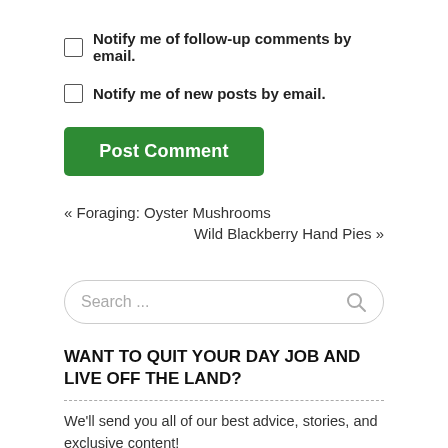Notify me of follow-up comments by email.
Notify me of new posts by email.
Post Comment
« Foraging: Oyster Mushrooms
Wild Blackberry Hand Pies »
Search ...
WANT TO QUIT YOUR DAY JOB AND LIVE OFF THE LAND?
We'll send you all of our best advice, stories, and exclusive content!